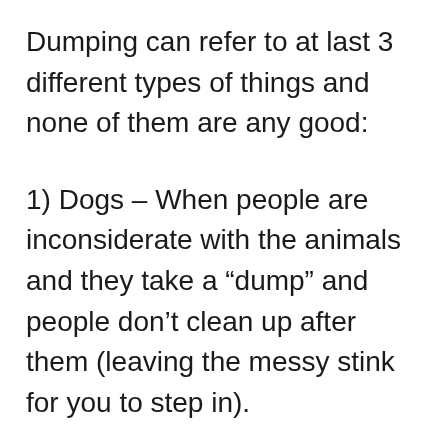Dumping can refer to at last 3 different types of things and none of them are any good:
1) Dogs – When people are inconsiderate with the animals and they take a “dump” and people don’t clean up after them (leaving the messy stink for you to step in).